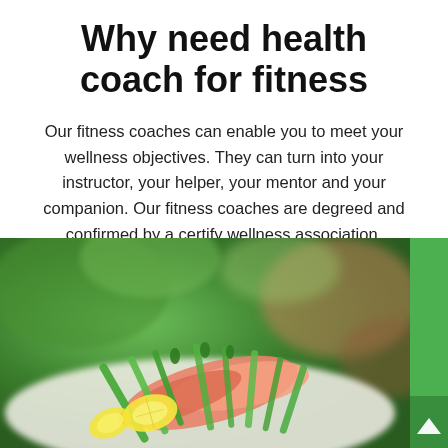Why need health coach for fitness
Our fitness coaches can enable you to meet your wellness objectives. They can turn into your instructor, your helper, your mentor and your companion. Our fitness coaches are degreed and confirmed by a certify wellness association.
[Figure (photo): Close-up photo of a healthy food plate with fresh vegetables including green beans, asparagus, lemon slices, and salmon, with blurred green plant background and warm bokeh lighting.]